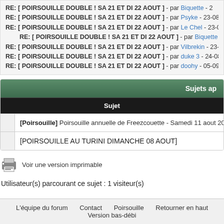RE: [ POIRSOUILLE DOUBLE ! SA 21 ET DI 22 AOUT ] - par Biquette - 2...
RE: [ POIRSOUILLE DOUBLE ! SA 21 ET DI 22 AOUT ] - par Psyke - 23-08...
RE: [ POIRSOUILLE DOUBLE ! SA 21 ET DI 22 AOUT ] - par Le Chel - 23-0...
RE: [ POIRSOUILLE DOUBLE ! SA 21 ET DI 22 AOUT ] - par Biquette - 2...
RE: [ POIRSOUILLE DOUBLE ! SA 21 ET DI 22 AOUT ] - par Vilbrekin - 23-...
RE: [ POIRSOUILLE DOUBLE ! SA 21 ET DI 22 AOUT ] - par duke 3 - 24-08...
RE: [ POIRSOUILLE DOUBLE ! SA 21 ET DI 22 AOUT ] - par doohy - 05-09...
Sujets ap...
| Sujet |
| --- |
| [Poirsouille] Poirsouille annuelle de Freezcouette - Samedi 11 aout 201... |
| [POIRSOUILLE AU TURINI DIMANCHE 08 AOUT] |
Voir une version imprimable
Utilisateur(s) parcourant ce sujet : 1 visiteur(s)
L'équipe du forum   Contact   Poirsouille   Retourner en haut   Version bas-débi...